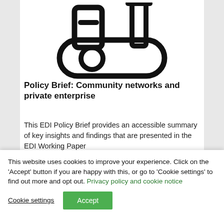[Figure (illustration): Line-art icon of a laboratory flask/beaker with a funnel, rendered in thick black strokes on white background]
Policy Brief: Community networks and private enterprise
This EDI Policy Brief provides an accessible summary of key insights and findings that are presented in the EDI Working Paper
This website uses cookies to improve your experience. Click on the 'Accept' button if you are happy with this, or go to 'Cookie settings' to find out more and opt out. Privacy policy and cookie notice